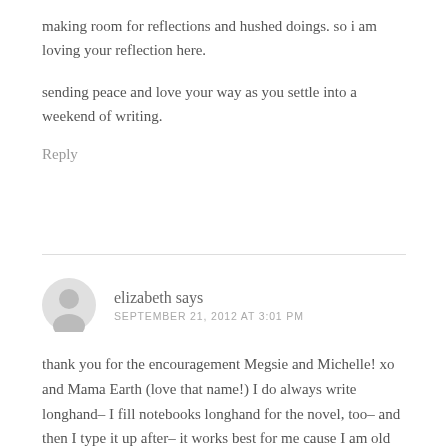making room for reflections and hushed doings. so i am loving your reflection here.
sending peace and love your way as you settle into a weekend of writing.
Reply
elizabeth says
SEPTEMBER 21, 2012 AT 3:01 PM
thank you for the encouragement Megsie and Michelle! xo and Mama Earth (love that name!) I do always write longhand– I fill notebooks longhand for the novel, too– and then I type it up after– it works best for me cause I am old